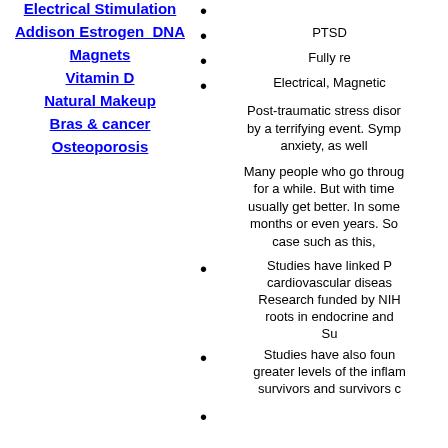Electrical Stimulation
Addison Estrogen  DNA
Magnets
Vitamin D
Natural Makeup
Bras & cancer
Osteoporosis
PTSD
Fully re
Electrical, Magnetic
Post-traumatic stress disor by a terrifying event. Symp anxiety, as well
Many people who go throug for a while. But with time usually get better. In some months or even years. So case such as this,
Studies have linked P cardiovascular diseas Research funded by NIH roots in endocrine and Su
Studies have also foun greater levels of the inflam survivors and survivors c